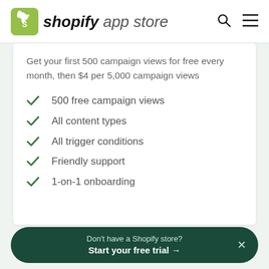[Figure (logo): Shopify app store logo with green shopping bag icon, bold italic 'shopify' text and italic 'app store' text]
Get your first 500 campaign views for free every month, then $4 per 5,000 campaign views
500 free campaign views
All content types
All trigger conditions
Friendly support
1-on-1 onboarding
Don't have a Shopify store? Start your free trial →